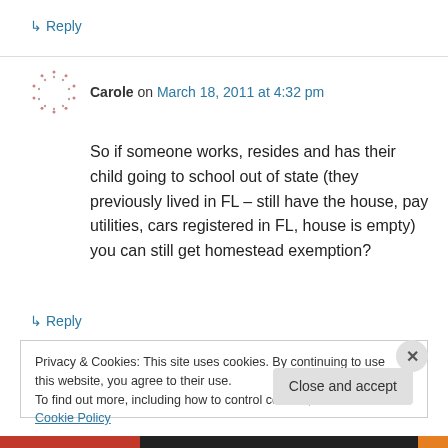↳ Reply
Carole on March 18, 2011 at 4:32 pm
So if someone works, resides and has their child going to school out of state (they previously lived in FL – still have the house, pay utilities, cars registered in FL, house is empty) you can still get homestead exemption?
↳ Reply
Privacy & Cookies: This site uses cookies. By continuing to use this website, you agree to their use.
To find out more, including how to control cookies, see here: Cookie Policy
Close and accept